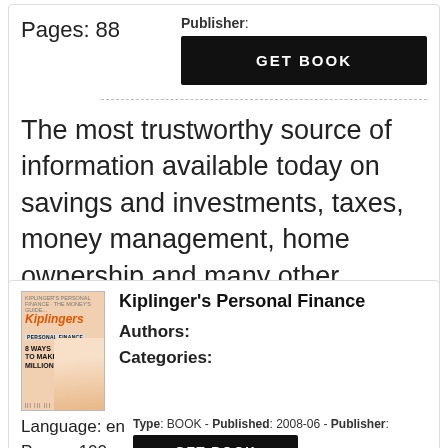Pages: 88
Publisher:
[Figure (other): GET BOOK button (black rectangle with white bold text)]
The most trustworthy source of information available today on savings and investments, taxes, money management, home ownership and many other personal finance t
[Figure (illustration): Kiplinger's Personal Finance magazine cover showing a woman and headline '8 WAYS TO MAKE A MILLION']
Kiplinger's Personal Finance
Authors:
Categories:
Language: en
Pages: 100
Type: BOOK - Published: 2008-06 - Publisher:
[Figure (other): GET BOOK button (black rectangle with white bold text, partially visible)]